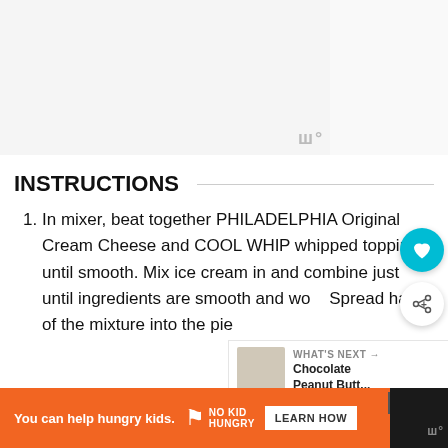[Figure (photo): Top image area with light gray background, partially visible recipe photo. Small watermark logo visible.]
INSTRUCTIONS
In mixer, beat together PHILADELPHIA Original Cream Cheese and COOL WHIP whipped topping until smooth. Mix ice cream in and combine just until ingredients are smooth and well combined. Spread half of the mixture into the pie
[Figure (infographic): What's Next panel showing Chocolate Peanut Butt... with thumbnail image]
You can help hungry kids.
[Figure (logo): No Kid Hungry logo]